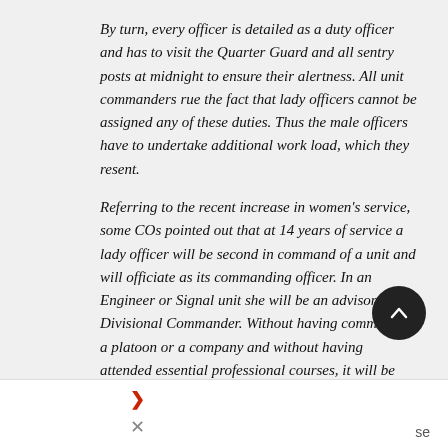By turn, every officer is detailed as a duty officer and has to visit the Quarter Guard and all sentry posts at midnight to ensure their alertness. All unit commanders rue the fact that lady officers cannot be assigned any of these duties. Thus the male officers have to undertake additional work load, which they resent.
Referring to the recent increase in women's service, some COs pointed out that at 14 years of service a lady officer will be second in command of a unit and will officiate as its commanding officer. In an Engineer or Signal unit she will be an advisor to the Divisional Commander. Without having commanded a platoon or a company and without having attended essential professional courses, it will be unfair to expect her to be able to deliver the goods.
Some COs also expressed concern about the physical fitness of women officers and their being highly prone to